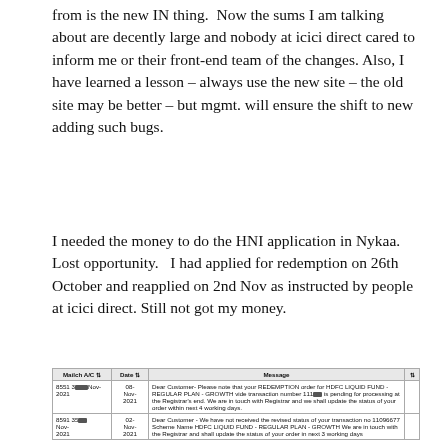from is the new IN thing.  Now the sums I am talking about are decently large and nobody at icici direct cared to inform me or their front-end team of the changes. Also, I have learned a lesson – always use the new site – the old site may be better – but mgmt. will ensure the shift to new adding such bugs.
I needed the money to do the HNI application in Nykaa. Lost opportunity.   I had applied for redemption on 26th October and reapplied on 2nd Nov as instructed by people at icici direct. Still not got my money.
| Mailch A/C | Date | Message |
| --- | --- | --- |
| 8551 3[REDACTED]Nov-2021 | 08-Nov-2021 | Dear Customer- Please note that your REDEMPTION order for HDFC LIQUID FUND - REGULAR PLAN - GROWTH vide transaction number 111[REDACTED] is pending for processing at the Registrar's end. We are in touch with Registrar and we shall update the status of your order within next 4 working days. |
| 8591 35[REDACTED] | 02-Nov-2021 | Dear Customer - We have not received the revised status of your transaction no 11096677 Scheme Name HDFC LIQUID FUND - REGULAR PLAN - GROWTH We are in touch with the Registrar and shall update the status of your order in next 3 working days |